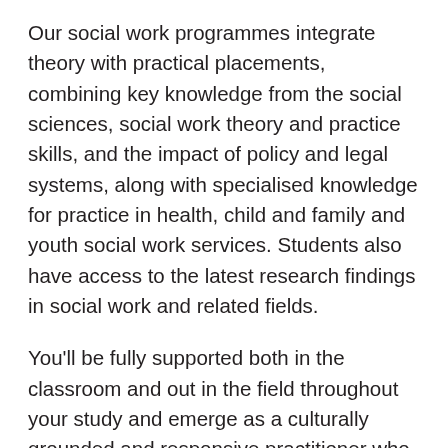Our social work programmes integrate theory with practical placements, combining key knowledge from the social sciences, social work theory and practice skills, and the impact of policy and legal systems, along with specialised knowledge for practice in health, child and family and youth social work services. Students also have access to the latest research findings in social work and related fields.
You'll be fully supported both in the classroom and out in the field throughout your study and emerge as a culturally grounded and responsive practitioner who understands the diversity in local, regional and New Zealand communities.
There are many opportunities to continue your development as a social worker after graduation, through postgraduate studies and professional development courses in professional supervision, counselling and social